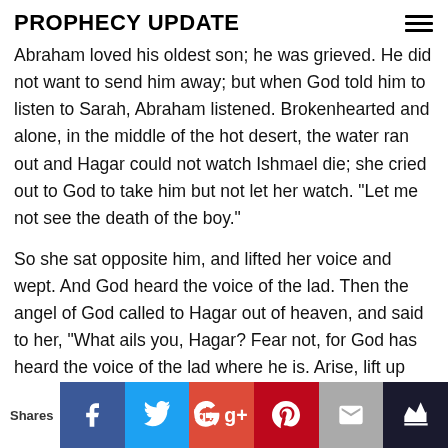PROPHECY UPDATE
Abraham loved his oldest son; he was grieved. He did not want to send him away; but when God told him to listen to Sarah, Abraham listened. Brokenhearted and alone, in the middle of the hot desert, the water ran out and Hagar could not watch Ishmael die; she cried out to God to take him but not let her watch. "Let me not see the death of the boy."
So she sat opposite him, and lifted her voice and wept. And God heard the voice of the lad. Then the angel of God called to Hagar out of heaven, and said to her, "What ails you, Hagar? Fear not, for God has heard the voice of the lad where he is. Arise, lift up the lad and hold